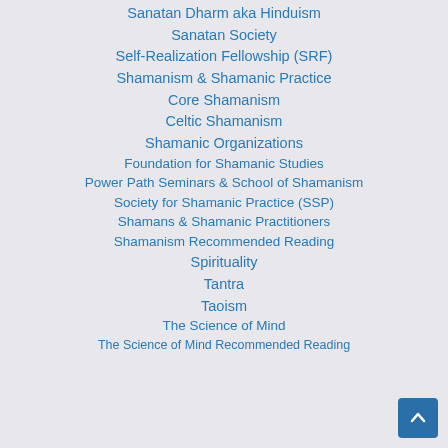Sanatan Dharm aka Hinduism
Sanatan Society
Self-Realization Fellowship (SRF)
Shamanism & Shamanic Practice
Core Shamanism
Celtic Shamanism
Shamanic Organizations
Foundation for Shamanic Studies
Power Path Seminars & School of Shamanism
Society for Shamanic Practice (SSP)
Shamans & Shamanic Practitioners
Shamanism Recommended Reading
Spirituality
Tantra
Taoism
The Science of Mind
The Science of Mind Recommended Reading